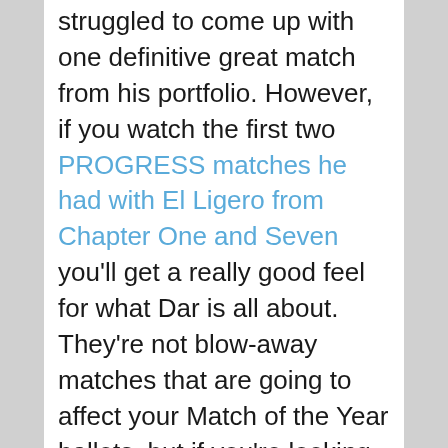struggled to come up with one definitive great match from his portfolio. However, if you watch the first two PROGRESS matches he had with El Ligero from Chapter One and Seven you'll get a really good feel for what Dar is all about. They're not blow-away matches that are going to affect your Match of the Year ballots, but if you're looking for examples of what to expect from Dar in the tournament I doubt watching these matches will steer you far wrong. If you're looking for some of his work where he had something closer to a traditional indie all-action match then give his match against Adam Cole from PCW a